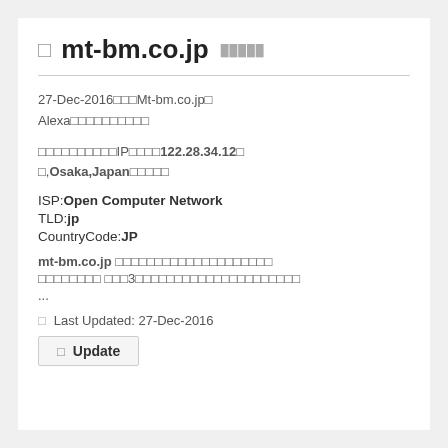□ mt-bm.co.jp ░░░░░
27-Dec-2016░░░Mt-bm.co.jp░ Alexa░░░░░░░░░░
░░░░░░░░░░IP░░░░122.28.34.12░ ░,Osaka,Japan░░░░░
ISP:Open Computer Network
TLD:jp
CountryCode:JP
mt-bm.co.jp ░░░░░░░░░░░░░░░░░░░░ ░░░░░░░░ ░░░3░░░░░░░░░░░░░░░░░░░░
...
□ Last Updated: 27-Dec-2016
□ Update